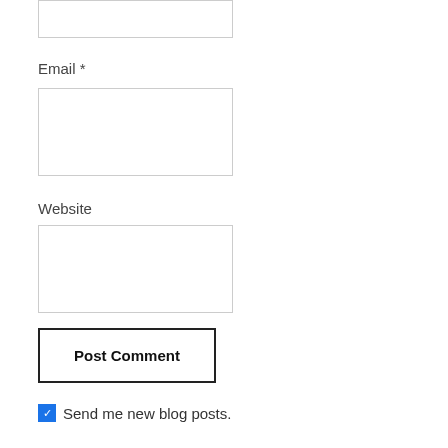Email *
Website
Post Comment
Send me new blog posts.